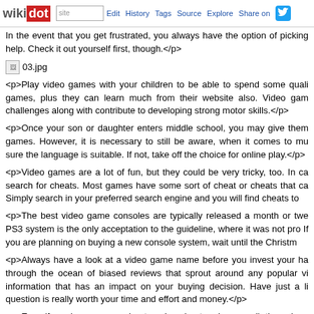wikidot | site | Edit | History | Tags | Source | Explore | Share on Twitter
In the event that you get frustrated, you always have the option of picking help. Check it out yourself first, though.</p>
[Figure (other): Image placeholder: 03.jpg]
<p>Play video games with your children to be able to spend some quality games, plus they can learn much from their website also. Video games challenges along with contribute to developing strong motor skills.</p>
<p>Once your son or daughter enters middle school, you may give them games. However, it is necessary to still be aware, when it comes to make sure the language is suitable. If not, take off the choice for online play.</p>
<p>Video games are a lot of fun, but they could be very tricky, too. In case search for cheats. Most games have some sort of cheat or cheats that can. Simply search in your preferred search engine and you will find cheats to
<p>The best video game consoles are typically released a month or two PS3 system is the only acceptation to the guideline, where it was not produced. If you are planning on buying a new console system, wait until the Christmas
<p>Always have a look at a video game name before you invest your hard through the ocean of biased reviews that sprout around any popular video information that has an impact on your buying decision. Have just a little question is really worth your time and effort and money.</p>
<p>Even if you have an aversion to using cheat codes or walk throughs with research helpful with many types of games. Simple Tips And Tricks For strategy games, specifically, very complicated tactics and strategies. Do